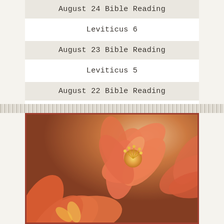August 24 Bible Reading
Leviticus 6
August 23 Bible Reading
Leviticus 5
August 22 Bible Reading
[Figure (photo): Close-up photograph of orange/salmon colored lily flowers with yellow centers and stamens, soft bokeh background in warm brown tones]